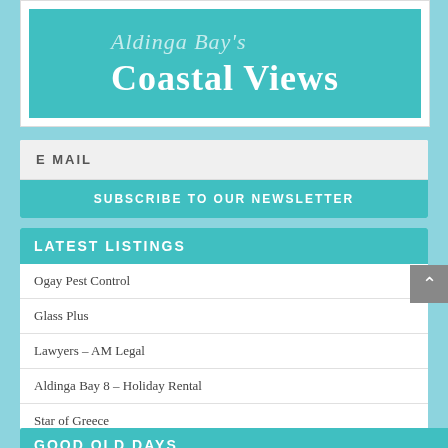Aldinga Bay's Coastal Views
E MAIL
SUBSCRIBE TO OUR NEWSLETTER
LATEST LISTINGS
Ogay Pest Control
Glass Plus
Lawyers – AM Legal
Aldinga Bay 8 – Holiday Rental
Star of Greece
GOOD OLD DAYS